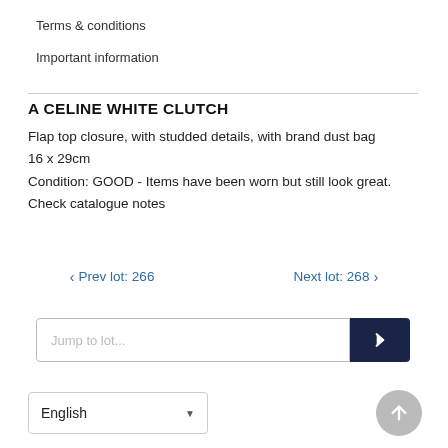Terms & conditions
Important information
A CELINE WHITE CLUTCH
Flap top closure, with studded details, with brand dust bag
16 x 29cm
Condition: GOOD - Items have been worn but still look great. Check catalogue notes
< Prev lot: 266    Next lot: 268 >
Jump to lot...
English